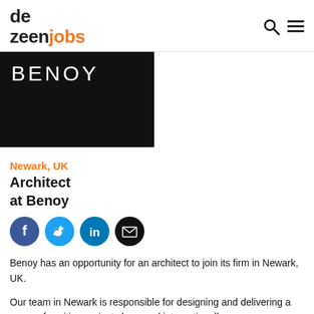dezeen jobs
[Figure (logo): BENOY company logo — white text on black background]
Newark, UK
Architect
at Benoy
[Figure (infographic): Social sharing icons: Facebook, Twitter, LinkedIn, Email]
Benoy has an opportunity for an architect to join its firm in Newark, UK.
Our team in Newark is responsible for designing and delivering a range of exciting projects here and internationally.